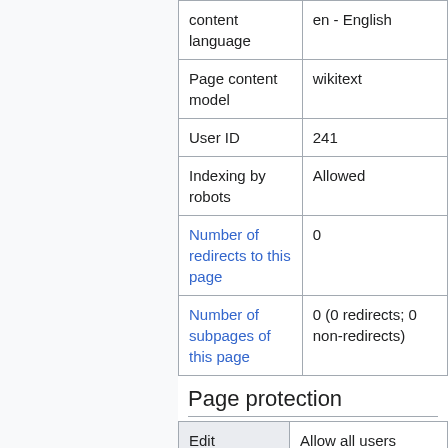| Property | Value |
| --- | --- |
| content language | en - English |
| Page content model | wikitext |
| User ID | 241 |
| Indexing by robots | Allowed |
| Number of redirects to this page | 0 |
| Number of subpages of this page | 0 (0 redirects; 0 non-redirects) |
Page protection
| Edit | Value |
| --- | --- |
| Edit | Allow all users (infinite) |